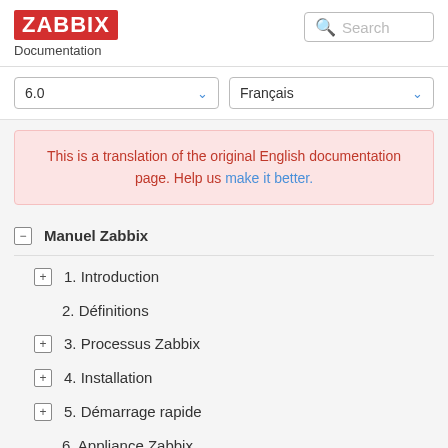[Figure (logo): Zabbix logo in red rectangle with white bold text]
Documentation
Search
6.0
Français
This is a translation of the original English documentation page. Help us make it better.
Manuel Zabbix
1. Introduction
2. Définitions
3. Processus Zabbix
4. Installation
5. Démarrage rapide
6. Appliance Zabbix
7. Configuration